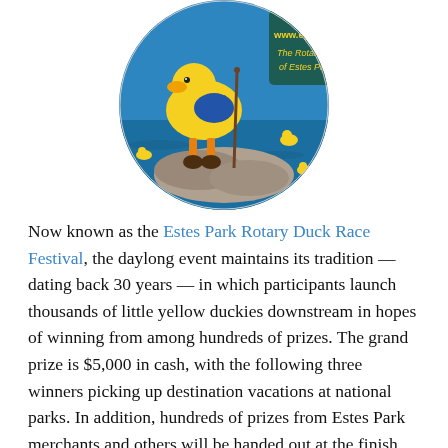[Figure (illustration): Circular logo/illustration for the Estes Park Rotary Duck Race Festival. Shows a cartoon yellow duck dressed as a hiker standing on rocks, holding a hiking stick, wearing boots. Blue water background with small yellow ducks floating. Text reads 'www.epduckrace.org' and 'The Rotary Club of Estes Park' in yellow lettering on a teal/blue background.]
Now known as the Estes Park Rotary Duck Race Festival, the daylong event maintains its tradition — dating back 30 years — in which participants launch thousands of little yellow duckies downstream in hopes of winning from among hundreds of prizes. The grand prize is $5,000 in cash, with the following three winners picking up destination vacations at national parks. In addition, hundreds of prizes from Estes Park merchants and others will be handed out at the finish line.
However, the real winners of this duck float and fest are the